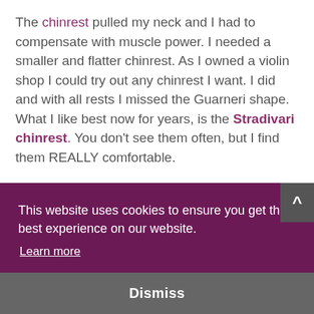The chinrest pulled my neck and I had to compensate with muscle power. I needed a smaller and flatter chinrest. As I owned a violin shop I could try out any chinrest I want. I did and with all rests I missed the Guarneri shape. What I like best now for years, is the Stradivari chinrest. You don't see them often, but I find them REALLY comfortable.
This website uses cookies to ensure you get the best experience on our website.
Learn more
Dismiss